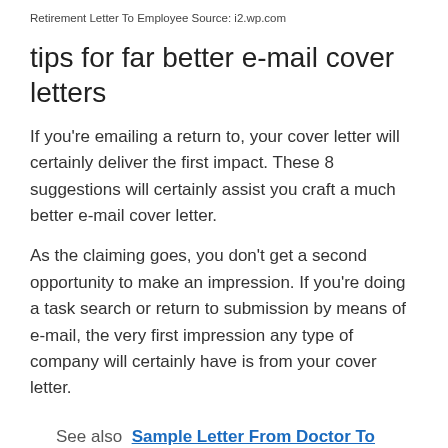Retirement Letter To Employee Source: i2.wp.com
tips for far better e-mail cover letters
If you're emailing a return to, your cover letter will certainly deliver the first impact. These 8 suggestions will certainly assist you craft a much better e-mail cover letter.
As the claiming goes, you don't get a second opportunity to make an impression. If you're doing a task search or return to submission by means of e-mail, the very first impression any type of company will certainly have is from your cover letter.
See also  Sample Letter From Doctor To Immigration Collection